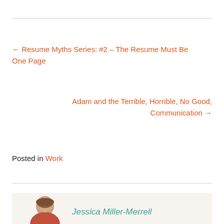← Resume Myths Series: #2 – The Resume Must Be One Page
Adam and the Terrible, Horrible, No Good, Communication →
Posted in Work
[Figure (photo): Author photo of Jessica Miller-Merrell, partially visible woman with red top, in a beige author box at the bottom of the page]
Jessica Miller-Merrell